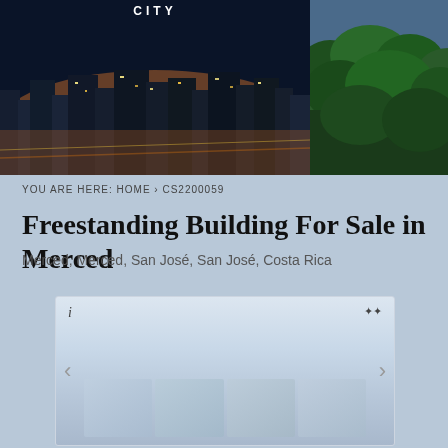[Figure (photo): Header banner with city aerial night photo on left and green forest/nature photo on right, with text 'CITY' visible at top center]
YOU ARE HERE: HOME › CS2200059
Freestanding Building For Sale in Merced
Merced, Merced, San José, San José, Costa Rica
[Figure (photo): Image slider box with light blue gradient background, info icon (i) top left, expand icon top right, left and right navigation arrows, and thumbnail images at bottom]